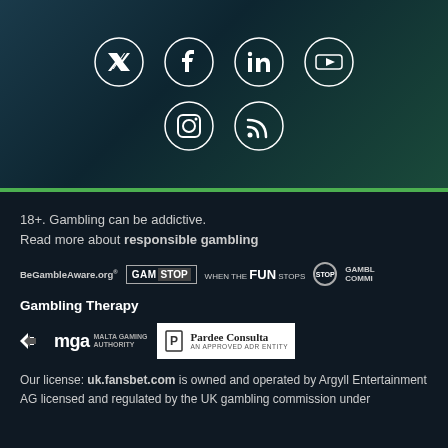[Figure (illustration): Social media icons in circles on dark teal background: Twitter, Facebook, LinkedIn, YouTube (top row), Instagram, RSS (bottom row)]
18+. Gambling can be addictive.
Read more about responsible gambling
[Figure (logo): Row of responsible gambling logos: BeGambleAware.org, GamStop, When The Fun Stops Stop, Gambling Commission]
Gambling Therapy
[Figure (logo): MGA Malta Gaming Authority logo and Pardee Consulta An Approved ADR Entity logo]
Our license: uk.fansbet.com is owned and operated by Argyll Entertainment AG licensed and regulated by the UK gambling commission under